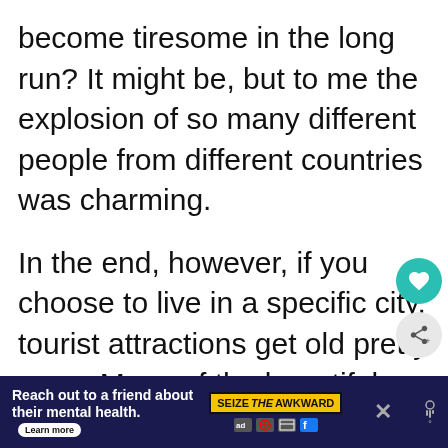become tiresome in the long run? It might be, but to me the explosion of so many different people from different countries was charming.
In the end, however, if you choose to live in a specific city, tourist attractions get old pretty soon. Many of the beautiful sights and places we have visited gave us no reason to visit again. We've seen the Buda castle last year and felt no need to get there again this year.
[Figure (other): Advertisement banner: 'Reach out to a friend about their mental health. Learn more' with SEIZE THE AWKWARD badge and sponsor logos on dark navy background]